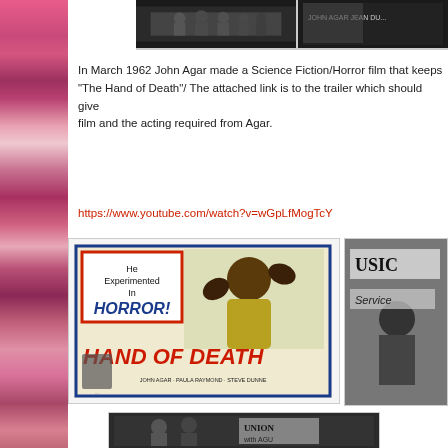[Figure (photo): Top strip showing two images: left is a black and white group photograph; right is a movie poster or still with text 'JOHN AGAR JEAN DU...']
In March 1962 John Agar made a Science Fiction/Horror film that keeps "The Hand of Death"/ The attached link is to the trailer which should give film and the acting required from Agar.
https://www.youtube.com/watch?v=wGpLfMogTcY
[Figure (photo): Movie poster for 'Hand of Death' featuring the text 'He Experimented In HORROR!' with a monster figure and 'HAND OF DEATH' in large red letters, starring JOHN AGAR, PAULA RAYMOND, STEVE DUNNE]
[Figure (photo): Black and white still photo showing a person near signs reading 'USIC' and 'Service']
[Figure (photo): Black and white photo at bottom showing people with signs including text 'UNION' and 'with AGU']